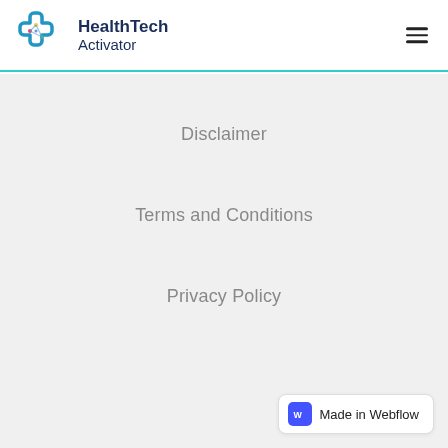[Figure (logo): HealthTech Activator logo with cross/network icon in blue and colorful dots, and bold dark navy text]
Disclaimer
Terms and Conditions
Privacy Policy
[Figure (other): Made in Webflow badge with blue W icon]